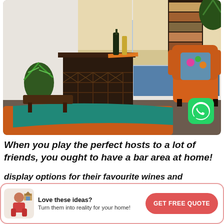[Figure (photo): Interior photo of a home bar/lounge area showing an orange wingback armchair with a floral cushion, a dark wooden bar cabinet with wine rack, a plant, roman blinds on windows, and an orange ottoman with a teal throw blanket.]
When you play the perfect hosts to a lot of friends, you ought to have a bar area at home!
display options for their favourite wines and
Love these ideas?
Turn them into reality for your home!
GET FREE QUOTE